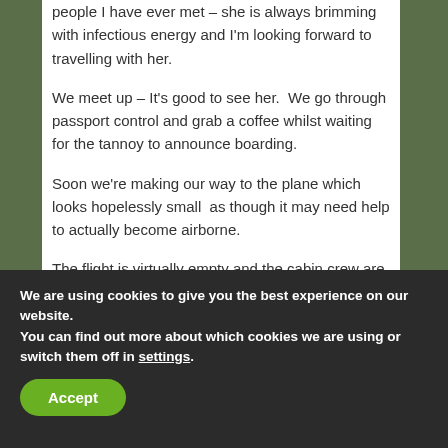people I have ever met – she is always brimming with infectious energy and I'm looking forward to travelling with her.
We meet up – It's good to see her.  We go through passport control and grab a coffee whilst waiting for the tannoy to announce boarding.
Soon we're making our way to the plane which looks hopelessly small  as though it may need help to actually become airborne.
The flight is virtually empty and the cabin crew are very slack and unhelpful – we have had no food other than
We are using cookies to give you the best experience on our website.
You can find out more about which cookies we are using or switch them off in settings.